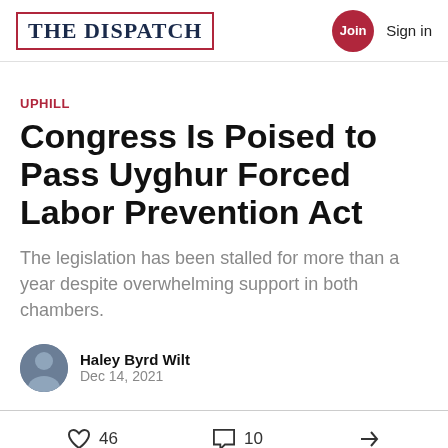THE DISPATCH | Join Sign in
UPHILL
Congress Is Poised to Pass Uyghur Forced Labor Prevention Act
The legislation has been stalled for more than a year despite overwhelming support in both chambers.
Haley Byrd Wilt
Dec 14, 2021
46  10